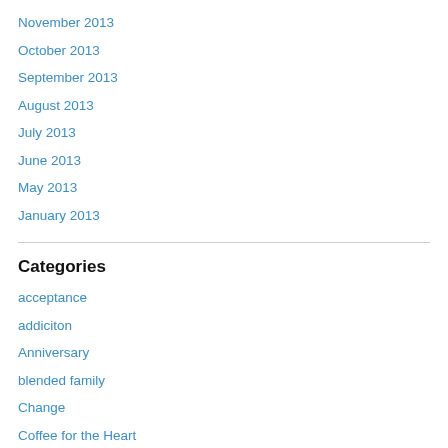November 2013
October 2013
September 2013
August 2013
July 2013
June 2013
May 2013
January 2013
Categories
acceptance
addiciton
Anniversary
blended family
Change
Coffee for the Heart
contagious
depression